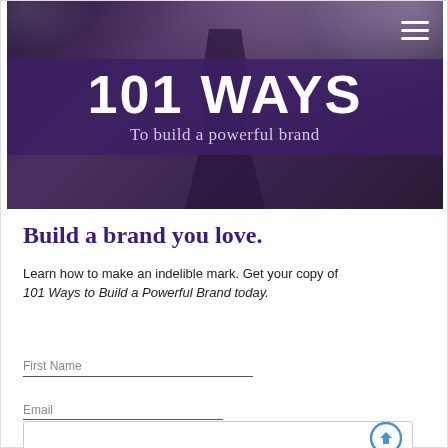[Figure (photo): Hero banner image showing a person in dark clothing against a deep purple/dark background, with the text '101 WAYS' in large white bold letters and 'To build a powerful brand' in a lighter style below, overlaid on a dark purple band. A hamburger menu icon appears in the top-right corner.]
Build a brand you love.
Learn how to make an indelible mark. Get your copy of 101 Ways to Build a Powerful Brand today.
First Name
Email